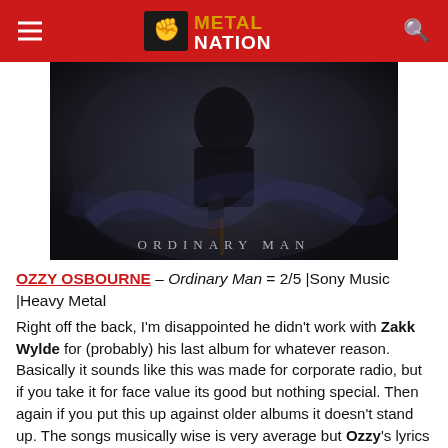Metal Nation
[Figure (photo): Album cover for Ozzy Osbourne's 'Ordinary Man' — dark moody image of a figure with text 'ORDINARY MAN' at the bottom]
OZZY OSBOURNE – Ordinary Man = 2/5 |Sony Music |Heavy Metal
Right off the back, I'm disappointed he didn't work with Zakk Wylde for (probably) his last album for whatever reason. Basically it sounds like this was made for corporate radio, but if you take it for face value its good but nothing special. Then again if you put this up against older albums it doesn't stand up. The songs musically wise is very average but Ozzy's lyrics are very emotionally heavy on this album. If your a big Ozzy fan, you'll dig it... others, give it a listen at least. For face value, I dig it, but maybe I was just hungry for some new Ozzy music in general... 11 tracks, 3 are good and 6 are OK.